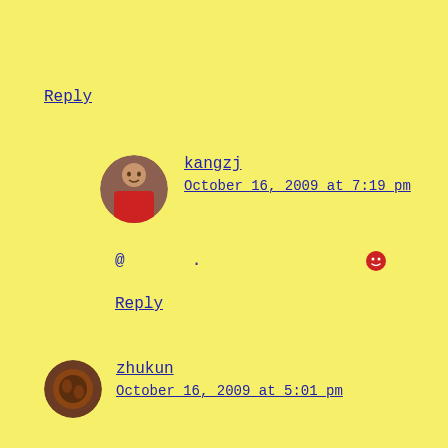Reply
[Figure (photo): Avatar of user kangzj - person in red shirt]
kangzj
October 16, 2009 at 7:19 pm
@ . 😊
Reply
[Figure (photo): Avatar of user zhukun - circular profile image with orange/brown tones]
zhukun
October 16, 2009 at 5:01 pm